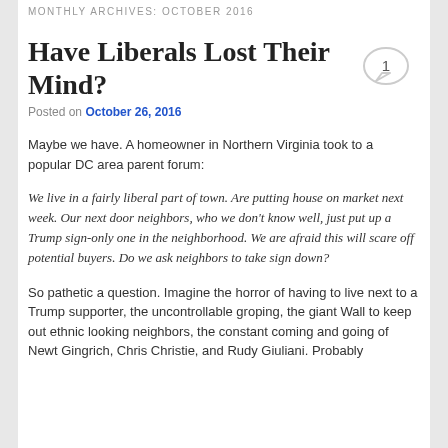MONTHLY ARCHIVES: OCTOBER 2016
Have Liberals Lost Their Mind?
Posted on October 26, 2016
Maybe we have. A homeowner in Northern Virginia took to a popular DC area parent forum:
We live in a fairly liberal part of town. Are putting house on market next week. Our next door neighbors, who we don't know well, just put up a Trump sign-only one in the neighborhood. We are afraid this will scare off potential buyers. Do we ask neighbors to take sign down?
So pathetic a question. Imagine the horror of having to live next to a Trump supporter, the uncontrollable groping, the giant Wall to keep out ethnic looking neighbors, the constant coming and going of Newt Gingrich, Chris Christie, and Rudy Giuliani. Probably